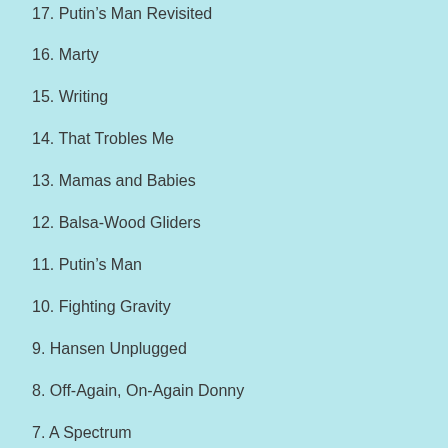17. Putin's Man Revisited
16. Marty
15. Writing
14. That Trobles Me
13. Mamas and Babies
12. Balsa-Wood Gliders
11. Putin's Man
10. Fighting Gravity
9. Hansen Unplugged
8. Off-Again, On-Again Donny
7. A Spectrum
6. Mindfulness
5. The Rule of Law
4. Reality
3. Trump's Stupid Wall
2. A Profile in Character
1. Top of Stack